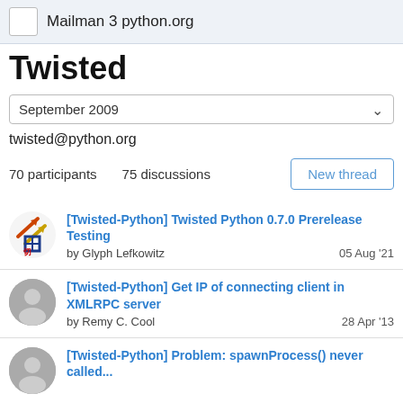Mailman 3 python.org
Twisted
September 2009
twisted@python.org
70 participants   75 discussions
[Twisted-Python] Twisted Python 0.7.0 Prerelease Testing by Glyph Lefkowitz  05 Aug '21
[Twisted-Python] Get IP of connecting client in XMLRPC server by Remy C. Cool  28 Apr '13
[Twisted-Python] Problem: spawnProcess() never called...